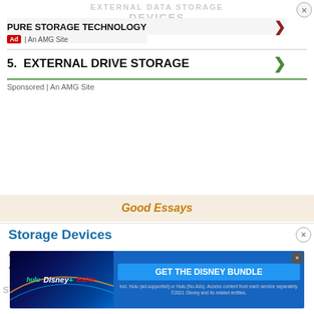EXTERNAL DATA STORAGE
DEVICES
PURE STORAGE TECHNOLOGY
Ad | An AMG Site
5.  EXTERNAL DRIVE STORAGE
Sponsored | An AMG Site
Good Essays
Storage Devices
489 Words
2 Pages
STORAGE DEVICE Definition A storage device can be